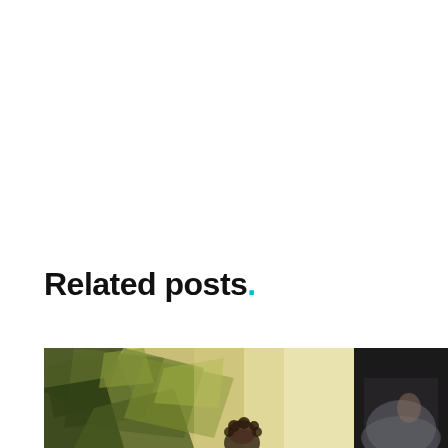Related posts.
[Figure (photo): Office interior with large tropical plant leaves in foreground and a person with curly hair visible in background near bright window]
[Figure (photo): Dark background photo showing partial view of a person, likely seated]